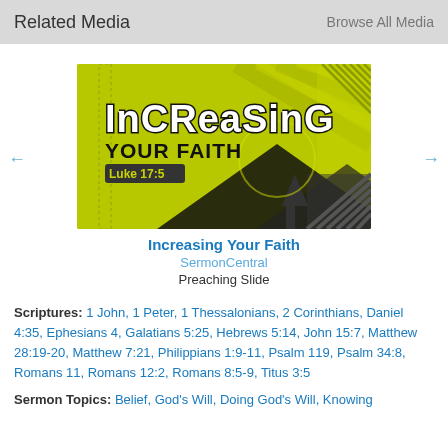Related Media   Browse All Media
[Figure (illustration): Preaching slide thumbnail showing 'Increasing Your Faith' text with Luke 17:5 reference on a yellow-green graphic background with arrows and geometric shapes.]
Increasing Your Faith
SermonCentral
Preaching Slide
Scriptures: 1 John, 1 Peter, 1 Thessalonians, 2 Corinthians, Daniel 4:35, Ephesians 4, Galatians 5:25, Hebrews 5:14, John 15:7, Matthew 28:19-20, Matthew 7:21, Philippians 1:9-11, Psalm 119, Psalm 34:8, Romans 11, Romans 12:2, Romans 8:5-9, Titus 3:5
Sermon Topics: Belief, God's Will, Doing God's Will, Knowing